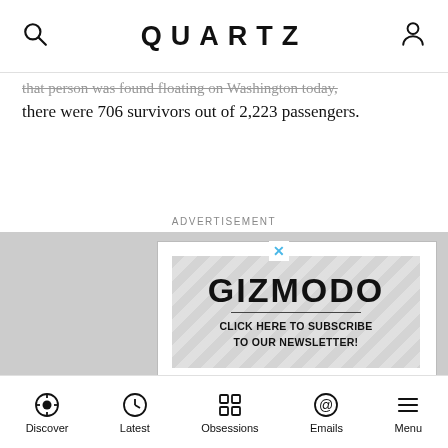QUARTZ
that person was found floating on Washington today, there were 706 survivors out of 2,223 passengers.
ADVERTISEMENT
[Figure (screenshot): Gizmodo advertisement banner with diagonal stripe background, GIZMODO logo, horizontal divider, and text 'CLICK HERE TO SUBSCRIBE TO OUR NEWSLETTER!']
Discover | Latest | Obsessions | Emails | Menu